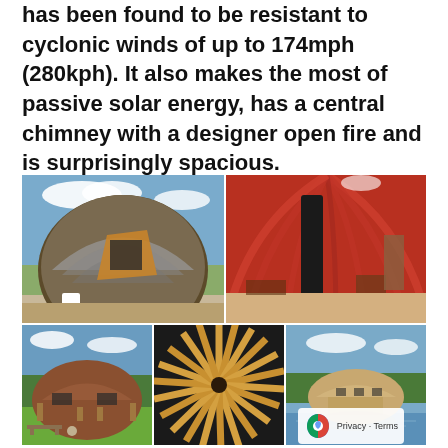has been found to be resistant to cyclonic winds of up to 174mph (280kph). It also makes the most of passive solar energy, has a central chimney with a designer open fire and is surprisingly spacious.
[Figure (photo): A 2x2 grid of six photos showing a dome-shaped structure: exterior with timber and slate shingles under blue sky, interior with red curved ceiling and central black chimney, exterior small dome on grass, close-up of wooden radiating beams, and landscape view of dome near water.]